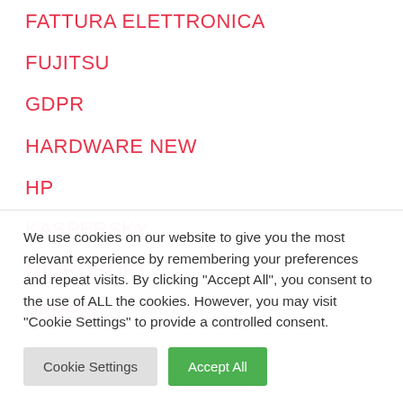FATTURA ELETTRONICA
FUJITSU
GDPR
HARDWARE NEW
HP
KASPERSKY
MICROSOFT
PAPERCUT
We use cookies on our website to give you the most relevant experience by remembering your preferences and repeat visits. By clicking "Accept All", you consent to the use of ALL the cookies. However, you may visit "Cookie Settings" to provide a controlled consent.